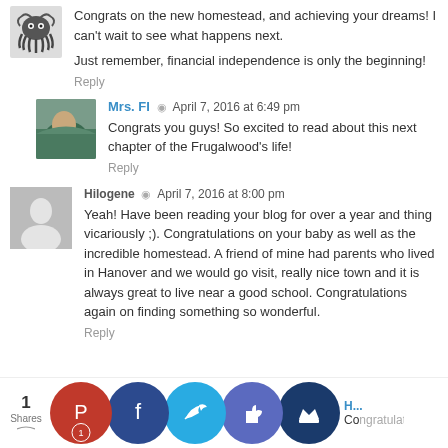[Figure (illustration): Octopus avatar image (decorative/logo style)]
Congrats on the new homestead, and achieving your dreams! I can't wait to see what happens next.

Just remember, financial independence is only the beginning!
Reply
[Figure (photo): Mrs. FI avatar photo showing a person outdoors near water]
Mrs. FI  ◉  April 7, 2016 at 6:49 pm
Congrats you guys! So excited to read about this next chapter of the Frugalwood's life!
Reply
[Figure (illustration): Hilogene default avatar placeholder (grey silhouette)]
Hilogene  ◉  April 7, 2016 at 8:00 pm
Yeah! Have been reading your blog for over a year and thing vicariously ;). Congratulations on your baby as well as the incredible homestead. A friend of mine had parents who lived in Hanover and we would go visit, really nice town and it is always great to live near a good school. Congratulations again on finding something so wonderful.
Reply
1 Shares
[Figure (infographic): Social share buttons: Pinterest (red), Facebook (dark blue), Twitter (light blue), Thumbs up (purple-blue), Crown (dark blue)]